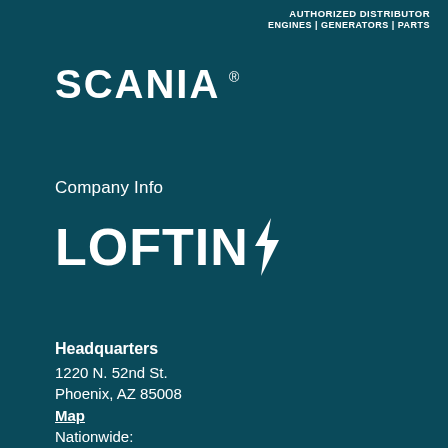AUTHORIZED DISTRIBUTOR
ENGINES | GENERATORS | PARTS
[Figure (logo): Scania logo in white text on dark teal background]
Company Info
[Figure (logo): Loftin company logo with lightning bolt symbol in white on dark teal background]
Headquarters
1220 N. 52nd St.
Phoenix, AZ 85008
Map
Nationwide:
(800) 437-4376